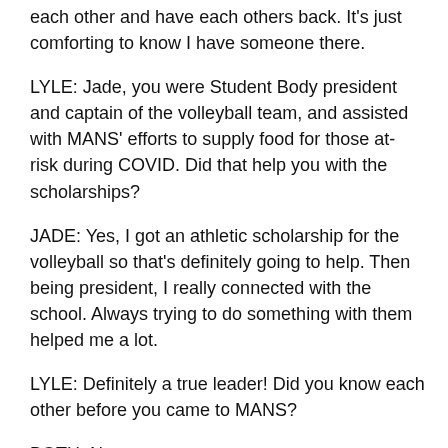each other and have each others back. It's just comforting to know I have someone there.
LYLE: Jade, you were Student Body president and captain of the volleyball team, and assisted with MANS' efforts to supply food for those at- risk during COVID. Did that help you with the scholarships?
JADE: Yes, I got an athletic scholarship for the volleyball so that's definitely going to help. Then being president, I really connected with the school. Always trying to do something with them helped me a lot.
LYLE: Definitely a true leader! Did you know each other before you came to MANS?
BOTH: No.
JADE: I came in Grade 10 but I was in kindergarten for half a year.